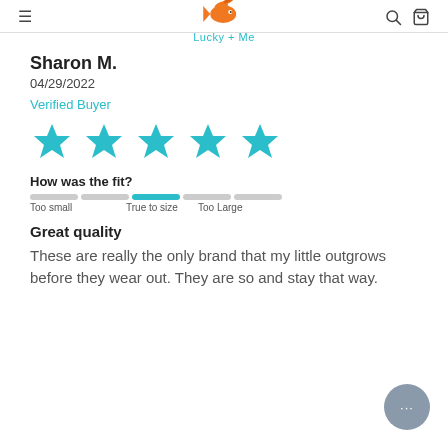Lucky + Me
Sharon M.
04/29/2022
Verified Buyer
[Figure (other): 5 filled teal/cyan stars representing a 5-star rating]
How was the fit?
[Figure (infographic): Fit slider bar with 5 segments, the middle segment highlighted in teal indicating 'True to size'. Labels: Too small, True to size, Too Large]
Great quality
These are really the only brand that my little outgrows before they wear out. They are so and stay that way.